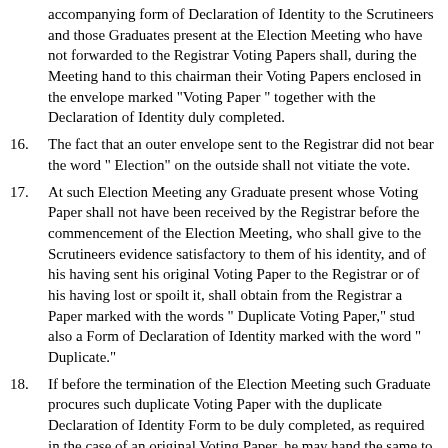accompanying form of Declaration of Identity to the Scrutineers and those Graduates present at the Election Meeting who have not forwarded to the Registrar Voting Papers shall, during the Meeting hand to this chairman their Voting Papers enclosed in the envelope marked "Voting Paper " together with the Declaration of Identity duly completed.
16. The fact that an outer envelope sent to the Registrar did not bear the word " Election" on the outside shall not vitiate the vote.
17. At such Election Meeting any Graduate present whose Voting Paper shall not have been received by the Registrar before the commencement of the Election Meeting, who shall give to the Scrutineers evidence satisfactory to them of his identity, and of his having sent his original Voting Paper to the Registrar or of his having lost or spoilt it, shall obtain from the Registrar a Paper marked with the words " Duplicate Voting Paper," stud also a Form of Declaration of Identity marked with the word " Duplicate."
18. If before the termination of the Election Meeting such Graduate procures such duplicate Voting Paper with the duplicate Declaration of Identity Form to be duly completed, as required in the case of an original Voting Paper, he may hand the same to the Scrutineers who shall count such vote with the original Voting Papers; but in case an original